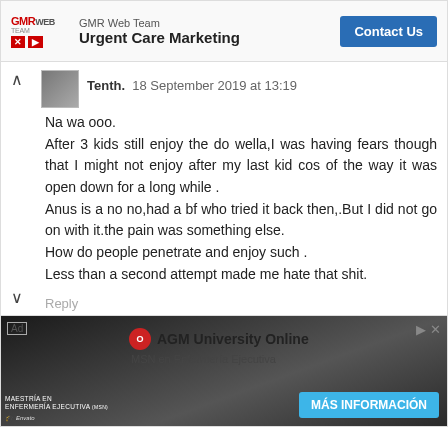[Figure (screenshot): GMR Web Team Urgent Care Marketing advertisement banner with Contact Us button]
Tenth.  18 September 2019 at 13:19
Na wa ooo.
After 3 kids still enjoy the do wella,I was having fears though that I might not enjoy after my last kid cos of the way it was open down for a long while .
Anus is a no no,had a bf who tried it back then,.But I did not go on with it.the pain was something else.
How do people penetrate and enjoy such .
Less than a second attempt made me hate that shit.
Reply
[Figure (screenshot): AGM University Online ad with photo of person in medical coat, MSN en Enfermería Ejecutiva, MÁS INFORMACIÓN button]